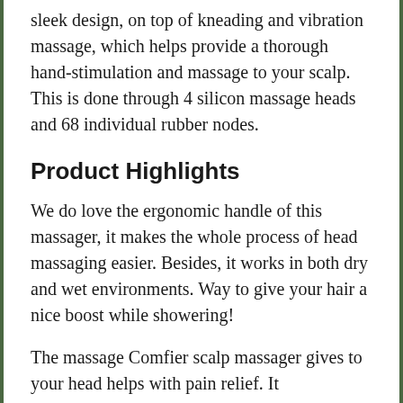sleek design, on top of kneading and vibration massage, which helps provide a thorough hand-stimulation and massage to your scalp. This is done through 4 silicon massage heads and 68 individual rubber nodes.
Product Highlights
We do love the ergonomic handle of this massager, it makes the whole process of head massaging easier. Besides, it works in both dry and wet environments. Way to give your hair a nice boost while showering!
The massage Comfier scalp massager gives to your head helps with pain relief. It